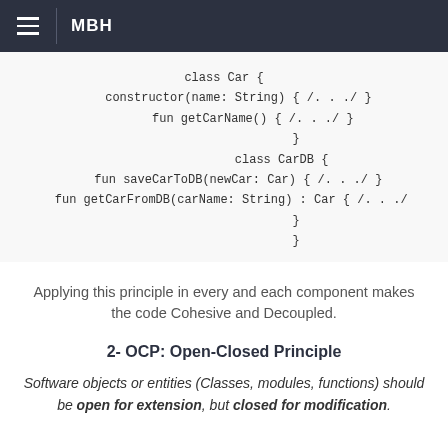MBH
class Car {
    constructor(name: String) { /. . ./ }
    fun getCarName() { /. . ./ }
    }
    class CarDB {
    fun saveCarToDB(newCar: Car) { /. . ./ }
    fun getCarFromDB(carName: String) : Car { /. . ./
    }
    }
Applying this principle in every and each component makes the code Cohesive and Decoupled.
2- OCP: Open-Closed Principle
Software objects or entities (Classes, modules, functions) should be open for extension, but closed for modification.